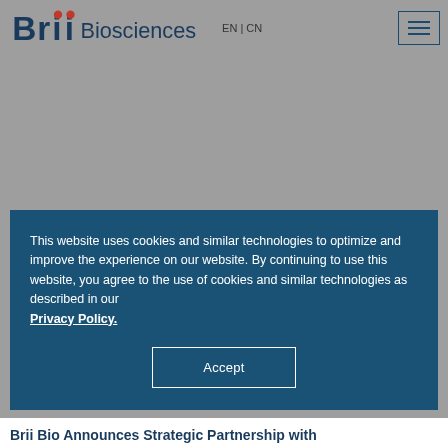Brii Biosciences EN | CN
This website uses cookies and similar technologies to optimize and improve the experience on our website. By continuing to use this website, you agree to the use of cookies and similar technologies as described in our Privacy Policy.
Accept
Brii Bio Announces Strategic Partnership with